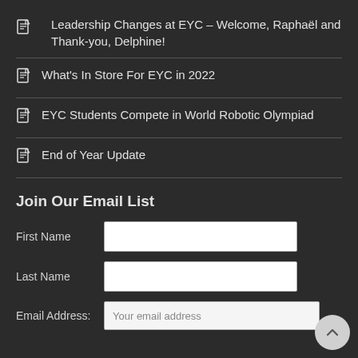Leadership Changes at EYC – Welcome, Raphaël and Thank-you, Delphine!
What's In Store For EYC in 2022
EYC Students Compete in World Robotic Olympiad
End of Year Update
Join Our Email List
First Name
Last Name
Email Address: Your email address